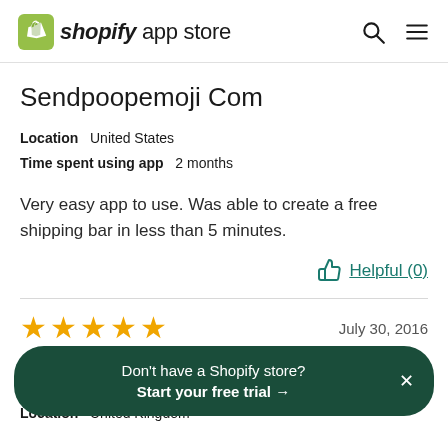shopify app store
Sendpoopemoji Com
Location   United States
Time spent using app   2 months
Very easy app to use. Was able to create a free shipping bar in less than 5 minutes.
Helpful (0)
★★★★★   July 30, 2016
Don't have a Shopify store? Start your free trial →
Location   United Kingdom